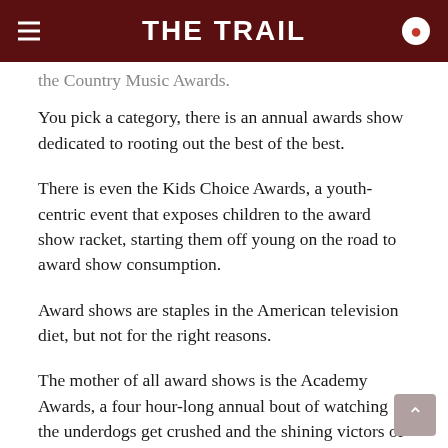THE TRAIL
the Country Music Awards.
You pick a category, there is an annual awards show dedicated to rooting out the best of the best.
There is even the Kids Choice Awards, a youth-centric event that exposes children to the award show racket, starting them off young on the road to award show consumption.
Award shows are staples in the American television diet, but not for the right reasons.
The mother of all award shows is the Academy Awards, a four hour-long annual bout of watching the underdogs get crushed and the shining victors of Hollywood get crowned.